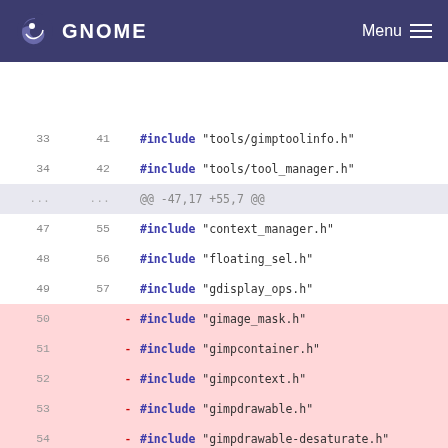GNOME | Menu
[Figure (screenshot): Git diff view showing removed #include lines from a C source file. Lines 33-34 show includes for tools/gimptoolinfo.h and tools/tool_manager.h. A context header shows @@ -47,17 +55,7 @@. Lines 47-49 show includes for context_manager.h, floating_sel.h, gdisplay_ops.h. Lines 50-60 are removed lines (pink background) showing includes for gimage_mask.h, gimpcontainer.h, gimpcontext.h, gimpdrawable.h, gimpdrawable-desaturate.h, gimpdrawable-equalize.h, gimpdrawable-invert.h, then line 57/58 shows gimphelp.h context, then removed lines for gimpimage.h, gimpimage-duplicate.h, gimplayer.h. Lines 61-63 show includes for gimprc.h, gimpui.h, global_edit.h.]